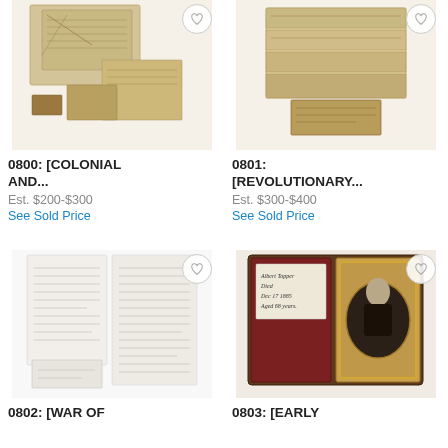[Figure (photo): Colonial documents, aged paper with handwritten text arranged in overlapping sheets]
0800: [COLONIAL AND...
Est. $200-$300
See Sold Price
[Figure (photo): Revolutionary war era documents, folded aged paper sheets]
0801: [REVOLUTIONARY...
Est. $300-$400
See Sold Price
[Figure (photo): War of 1812 era handwritten letters on white paper]
0802: [WAR OF
[Figure (photo): Early daguerreotype portrait in case with handwritten note]
0803: [EARLY